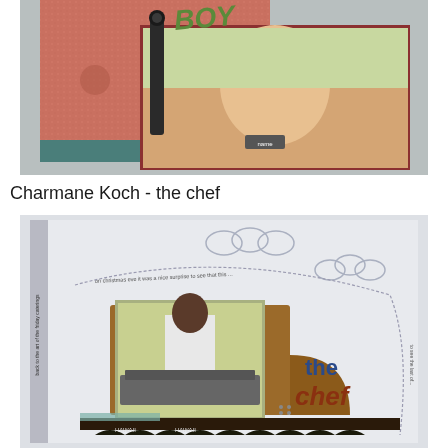[Figure (photo): Scrapbook page featuring a child wearing a blue cap, with decorative red and teal paper, text reading BOY, and various embellishments including a black pin/needle element]
Charmane Koch - the chef
[Figure (photo): Scrapbook page titled 'the chef' featuring a man standing outdoors, with decorative elements including brown paper, a button, scalloped border, and handwritten text around a curved border with cloud-like embellishments]